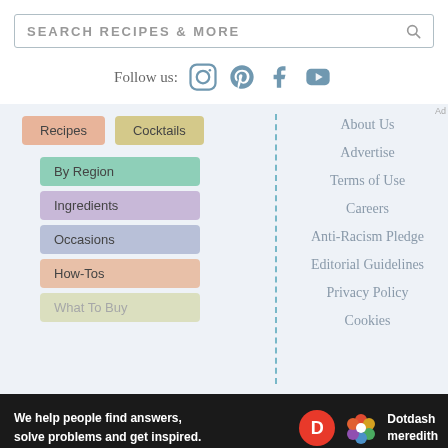SEARCH RECIPES & MORE
Follow us:
Recipes
Cocktails
By Region
Ingredients
Occasions
How-Tos
What To Buy
About Us
Advertise
Terms of Use
Careers
Anti-Racism Pledge
Editorial Guidelines
Privacy Policy
Cookies
We help people find answers, solve problems and get inspired.
Dotdash meredith